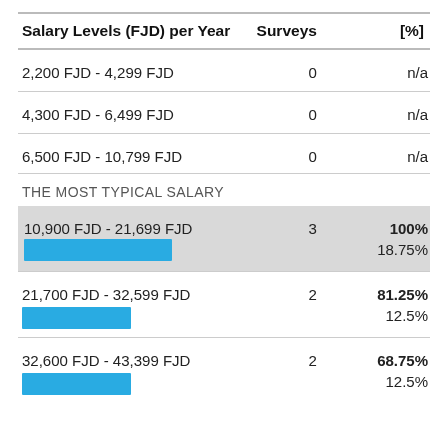| Salary Levels (FJD) per Year | Surveys | [%] |
| --- | --- | --- |
| 2,200 FJD - 4,299 FJD | 0 | n/a |
| 4,300 FJD - 6,499 FJD | 0 | n/a |
| 6,500 FJD - 10,799 FJD | 0 | n/a |
| THE MOST TYPICAL SALARY |  |  |
| 10,900 FJD - 21,699 FJD | 3 | 100% / 18.75% |
| 21,700 FJD - 32,599 FJD | 2 | 81.25% / 12.5% |
| 32,600 FJD - 43,399 FJD | 2 | 68.75% / 12.5% |